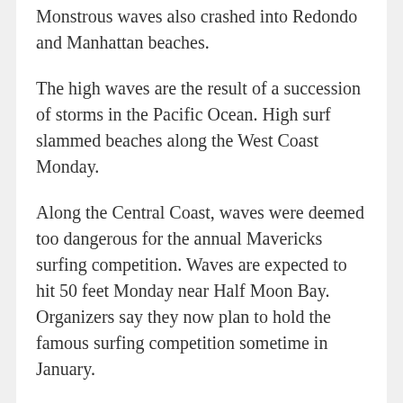Monstrous waves also crashed into Redondo and Manhattan beaches.
The high waves are the result of a succession of storms in the Pacific Ocean. High surf slammed beaches along the West Coast Monday.
Along the Central Coast, waves were deemed too dangerous for the annual Mavericks surfing competition. Waves are expected to hit 50 feet Monday near Half Moon Bay. Organizers say they now plan to hold the famous surfing competition sometime in January.
Source: “Los Angeles” – Google News